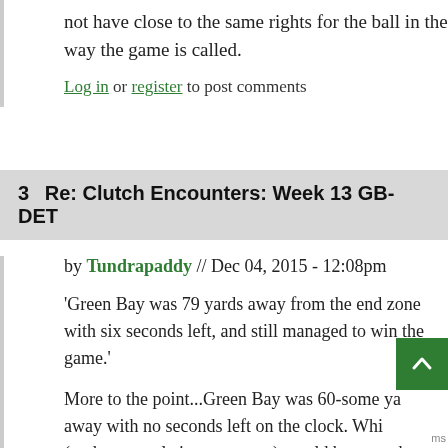not have close to the same rights for the ball in the way the game is called.
Log in or register to post comments
3  Re: Clutch Encounters: Week 13 GB-DET
by Tundrapaddy // Dec 04, 2015 - 12:08pm
'Green Bay was 79 yards away from the end zone with six seconds left, and still managed to win the game.'
More to the point...Green Bay was 60-some ya away with no seconds left on the clock. Whi (under normal circumstances) would be enough to lose.
Log in or register to post comments